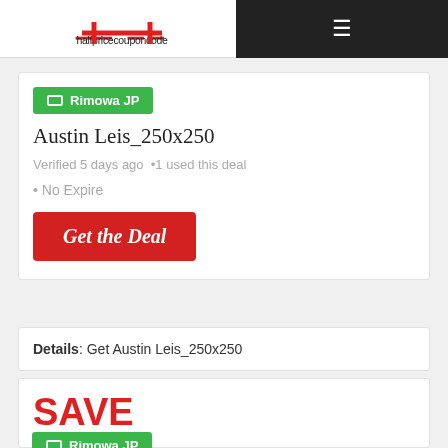halfpricecouponcode
Rimowa JP
Austin Leis_250x250
Verified 5 days ago  •1 used this deal
• No Expire
Get the Deal
Details: Get Austin Leis_250x250
SAVE NOW
Rimowa JP